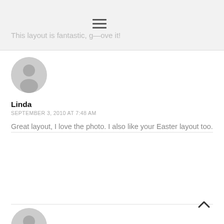This layout is fantastic, g—ove it!
Linda
SEPTEMBER 3, 2010 AT 7:48 AM
Great layout, I love the photo. I also like your Easter layout too.
[Figure (illustration): Second comment avatar placeholder (gray silhouette of a person)]